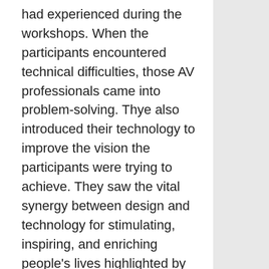had experienced during the workshops. When the participants encountered technical difficulties, those AV professionals came into problem-solving. Thye also introduced their technology to improve the vision the participants were trying to achieve. They saw the vital synergy between design and technology for stimulating, inspiring, and enriching people's lives highlighted by Hako. A collaboration between AV companies and a design studio on a fine art workshop is a new approach to the growth of the projection medium. The Hako workshop inspired both companies and the participants to focus on the use of technology and design to elevate the overall experience